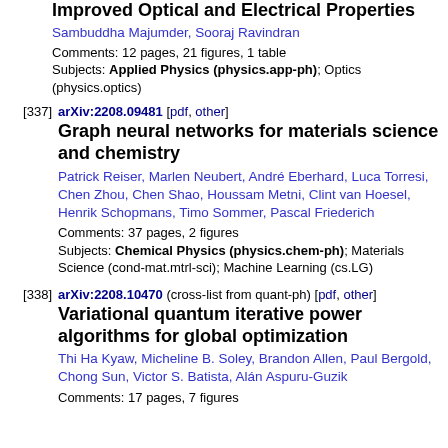Improved Optical and Electrical Properties
Sambuddha Majumder, Sooraj Ravindran
Comments: 12 pages, 21 figures, 1 table
Subjects: Applied Physics (physics.app-ph); Optics (physics.optics)
[337] arXiv:2208.09481 [pdf, other]
Graph neural networks for materials science and chemistry
Patrick Reiser, Marlen Neubert, André Eberhard, Luca Torresi, Chen Zhou, Chen Shao, Houssam Metni, Clint van Hoesel, Henrik Schopmans, Timo Sommer, Pascal Friederich
Comments: 37 pages, 2 figures
Subjects: Chemical Physics (physics.chem-ph); Materials Science (cond-mat.mtrl-sci); Machine Learning (cs.LG)
[338] arXiv:2208.10470 (cross-list from quant-ph) [pdf, other]
Variational quantum iterative power algorithms for global optimization
Thi Ha Kyaw, Micheline B. Soley, Brandon Allen, Paul Bergold, Chong Sun, Victor S. Batista, Alán Aspuru-Guzik
Comments: 17 pages, 7 figures